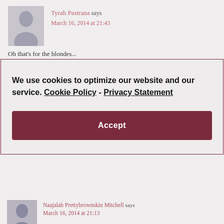Tyrah Pastrana says
March 16, 2014 at 21:43
We use cookies to optimize our website and our service.  Cookie Policy - Privacy Statement
Accept
Naajalah Prettybrownskin Mitchell says
March 16, 2014 at 21:13
Damn im not wearing lace fronts no more